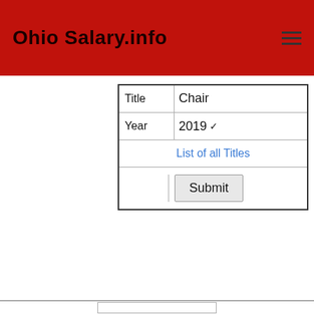Ohio Salary.info
| Title | Chair |
| Year | 2019 ▾ |
|  | List of all Titles |
|  | Submit |